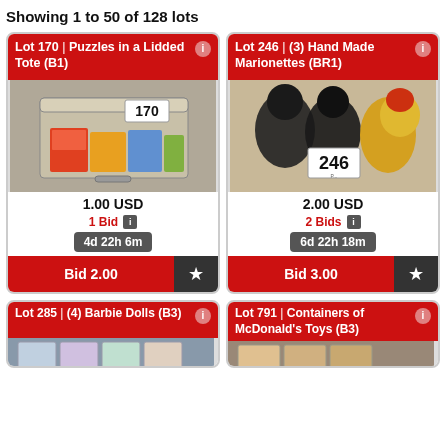Showing 1 to 50 of 128 lots
[Figure (photo): Lot 170 - Puzzles in a Lidded Tote (B1), showing a plastic tote container with multiple jigsaw puzzles inside, labeled 170]
[Figure (photo): Lot 246 - (3) Hand Made Marionettes (BR1), showing three puppet marionettes on a carpet, labeled 246]
[Figure (photo): Lot 285 - (4) Barbie Dolls (B3), partial image visible]
[Figure (photo): Lot 791 - Containers of McDonald's Toys (B3), partial image visible]